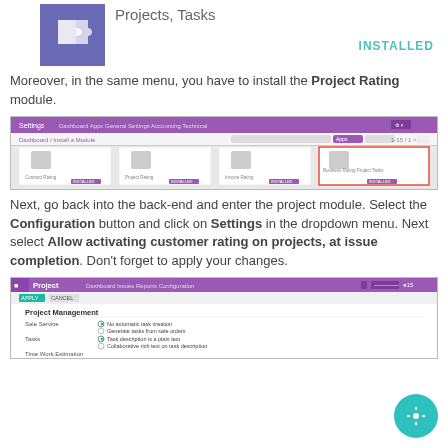[Figure (screenshot): Puzzle icon for Projects, Tasks module with INSTALLED badge]
Moreover, in the same menu, you have to install the Project Rating module.
[Figure (screenshot): Screenshot of Settings > Install a Module page showing module grid with Project Rating highlighted in red border]
Next, go back into the back-end and enter the project module. Select the Configuration button and click on Settings in the dropdown menu. Next select Allow activating customer rating on projects, at issue completion. Don't forget to apply your changes.
[Figure (screenshot): Screenshot of Project module Settings page showing Project Management section with Sale Service, Tasks, Time Work Estimation options and Helpdesk & Support section]